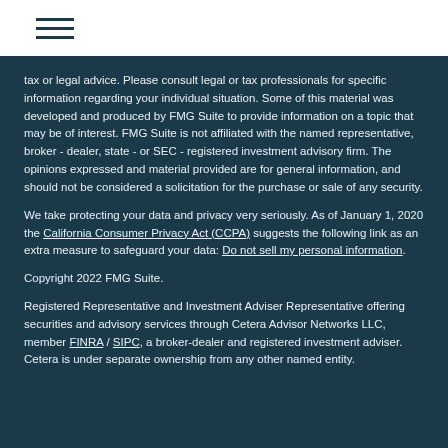Navigation menu icon
tax or legal advice. Please consult legal or tax professionals for specific information regarding your individual situation. Some of this material was developed and produced by FMG Suite to provide information on a topic that may be of interest. FMG Suite is not affiliated with the named representative, broker - dealer, state - or SEC - registered investment advisory firm. The opinions expressed and material provided are for general information, and should not be considered a solicitation for the purchase or sale of any security.
We take protecting your data and privacy very seriously. As of January 1, 2020 the California Consumer Privacy Act (CCPA) suggests the following link as an extra measure to safeguard your data: Do not sell my personal information.
Copyright 2022 FMG Suite.
Registered Representative and Investment Adviser Representative offering securities and advisory services through Cetera Advisor Networks LLC, member FINRA / SIPC, a broker-dealer and registered investment adviser. Cetera is under separate ownership from any other named entity.